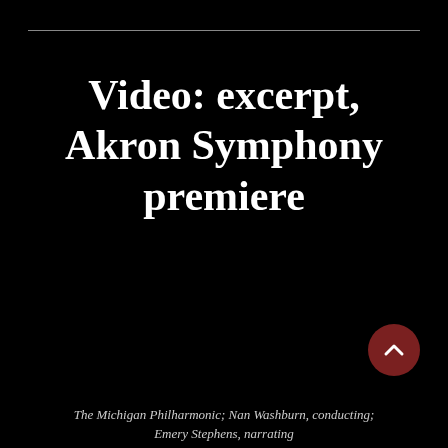Video: excerpt, Akron Symphony premiere
The Michigan Philharmonic; Nan Washburn, conducting; Emery Stephens, narrating